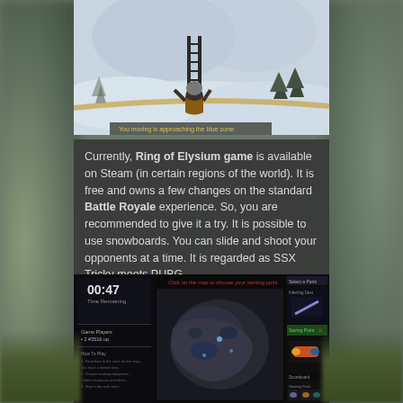[Figure (screenshot): Top screenshot from Ring of Elysium game showing a player character in a winter snowy landscape with trees and mountains, climbing near a ladder structure. Yellow subtitle text visible at bottom of image.]
Currently, Ring of Elysium game is available on Steam (in certain regions of the world). It is free and owns a few changes on the standard Battle Royale experience. So, you are recommended to give it a try. It is possible to use snowboards. You can slide and shoot your opponents at a time. It is regarded as SSX Tricky meets PUBG.
[Figure (screenshot): Bottom screenshot from Ring of Elysium game showing the game lobby/map selection screen with a timer showing 00:47, a top-down map view of the game area, and an inventory/items panel on the right side with snowboard and other equipment icons.]